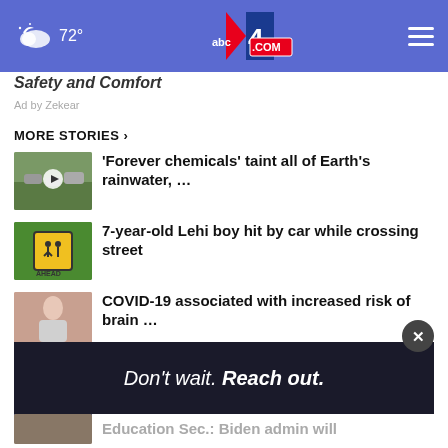72° abc4.com
Safety and Comfort
Ad by Zekear
MORE STORIES ›
'Forever chemicals' taint all of Earth's rainwater, …
7-year-old Lehi boy hit by car while crossing street
COVID-19 associated with increased risk of brain …
Trump pushes for un-redacte…
Don't wait. Reach out.
Education Sec.: Biden admin will